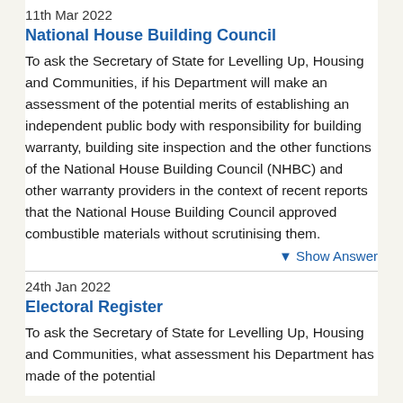11th Mar 2022
National House Building Council
To ask the Secretary of State for Levelling Up, Housing and Communities, if his Department will make an assessment of the potential merits of establishing an independent public body with responsibility for building warranty, building site inspection and the other functions of the National House Building Council (NHBC) and other warranty providers in the context of recent reports that the National House Building Council approved combustible materials without scrutinising them.
▾ Show Answer
24th Jan 2022
Electoral Register
To ask the Secretary of State for Levelling Up, Housing and Communities, what assessment his Department has made of the potential